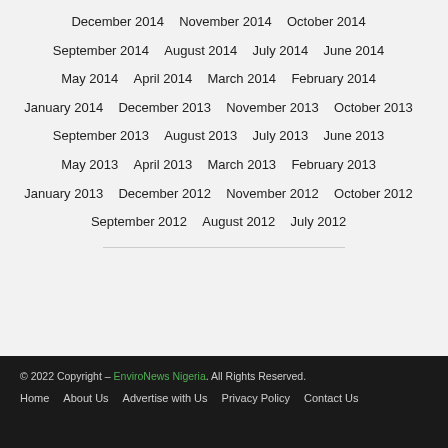December 2014
November 2014
October 2014
September 2014
August 2014
July 2014
June 2014
May 2014
April 2014
March 2014
February 2014
January 2014
December 2013
November 2013
October 2013
September 2013
August 2013
July 2013
June 2013
May 2013
April 2013
March 2013
February 2013
January 2013
December 2012
November 2012
October 2012
September 2012
August 2012
July 2012
© 2022 Copyright - EnviroNews Nigeria. All Rights Reserved. Home   About Us   Advertise with Us   Privacy Policy   Contact Us